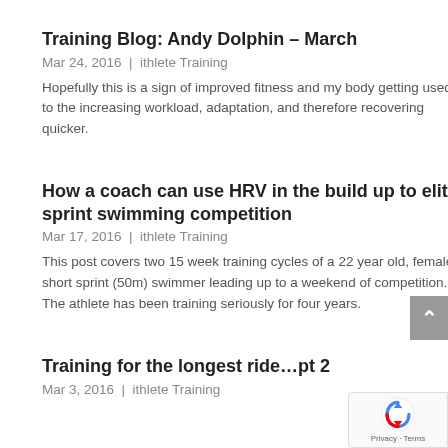Training Blog: Andy Dolphin – March
Mar 24, 2016 | ithlete Training
Hopefully this is a sign of improved fitness and my body getting used to the increasing workload, adaptation, and therefore recovering quicker.
How a coach can use HRV in the build up to elite sprint swimming competition
Mar 17, 2016 | ithlete Training
This post covers two 15 week training cycles of a 22 year old, female, short sprint (50m) swimmer leading up to a weekend of competition. The athlete has been training seriously for four years.
Training for the longest ride…pt 2
Mar 3, 2016 | ithlete Training